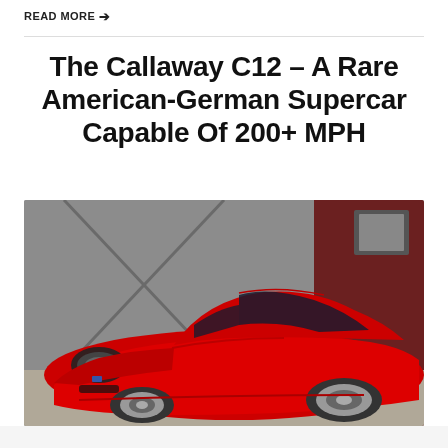READ MORE →
The Callaway C12 – A Rare American-German Supercar Capable Of 200+ MPH
[Figure (photo): Red Callaway C12 supercar parked inside a garage with grey and red walls. The car has a sleek sports car body style with headlights visible on the front-left quarter, a dark windshield, and silver wheels. The car is predominantly red.]